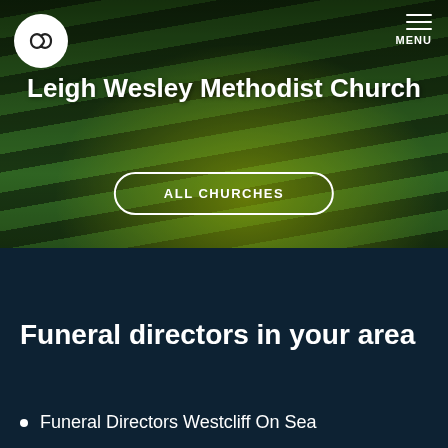[Figure (photo): Aerial view of a grass lawn with light beams and fallen leaves, used as hero background for a church webpage]
Leigh Wesley Methodist Church
ALL CHURCHES
Funeral directors in your area
Funeral Directors Westcliff On Sea